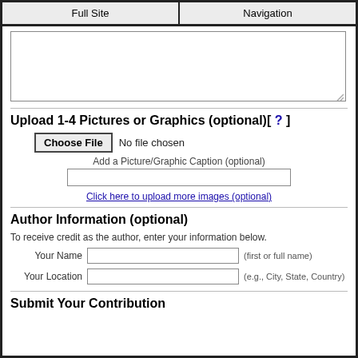Full Site | Navigation
[Figure (screenshot): Textarea input box (partially visible, empty)]
Upload 1-4 Pictures or Graphics (optional)[ ? ]
[Figure (screenshot): Choose File button with 'No file chosen' text]
Add a Picture/Graphic Caption (optional)
[Figure (screenshot): Text input field for picture/graphic caption]
Click here to upload more images (optional)
Author Information (optional)
To receive credit as the author, enter your information below.
| Label | Input | Hint |
| --- | --- | --- |
| Your Name |  | (first or full name) |
| Your Location |  | (e.g., City, State, Country) |
Submit Your Contribution